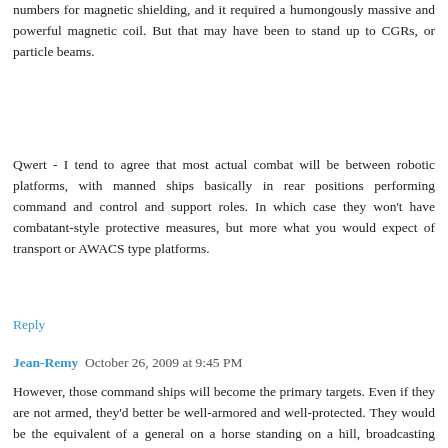numbers for magnetic shielding, and it required a humongously massive and powerful magnetic coil. But that may have been to stand up to CGRs, or particle beams.
Qwert - I tend to agree that most actual combat will be between robotic platforms, with manned ships basically in rear positions performing command and control and support roles. In which case they won't have combatant-style protective measures, but more what you would expect of transport or AWACS type platforms.
Reply
Jean-Remy   October 26, 2009 at 9:45 PM
However, those command ships will become the primary targets. Even if they are not armed, they'd better be well-armored and well-protected. They would be the equivalent of a general on a horse standing on a hill, broadcasting "hello, kill me." Not only that but the more complex the weapon system, the most likely it will need maintenance.